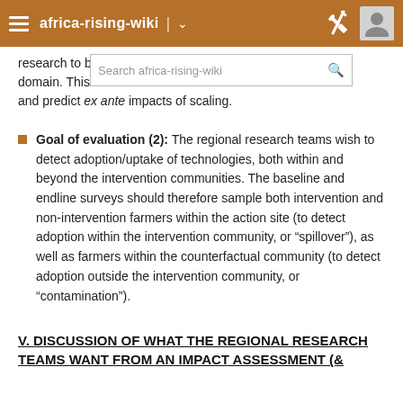africa-rising-wiki
research to be extrapolated at the level of the development domain. This will allow r... and predict ex ante impacts of scaling.
Goal of evaluation (2): The regional research teams wish to detect adoption/uptake of technologies, both within and beyond the intervention communities. The baseline and endline surveys should therefore sample both intervention and non-intervention farmers within the action site (to detect adoption within the intervention community, or “spillover”), as well as farmers within the counterfactual community (to detect adoption outside the intervention community, or “contamination”).
V. DISCUSSION OF WHAT THE REGIONAL RESEARCH TEAMS WANT FROM AN IMPACT ASSESSMENT (&